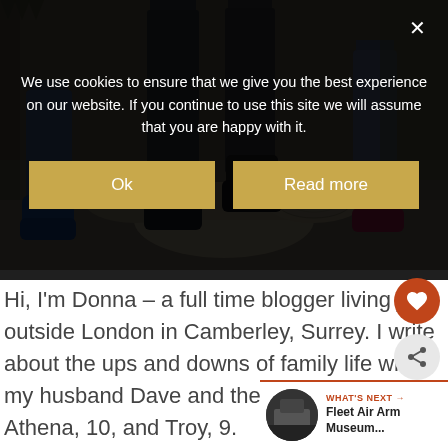We use cookies to ensure that we give you the best experience on our website. If you continue to use this site we will assume that you are happy with it.
[Figure (screenshot): Cookie consent overlay with two golden buttons labeled 'Ok' and 'Read more' on dark background, with an X close button]
[Figure (photo): Children balancing on a log in an outdoor playground, showing legs and feet with colorful shoes (blue, black, pink/red sneakers) on a gravel/bark surface]
Hi, I'm Donna – a full time blogger living just outside London in Camberley, Surrey. I write about the ups and downs of family life with my husband Dave and the children – Athena, 10, and Troy, 9.
WHAT'S NEXT → Fleet Air Arm Museum...